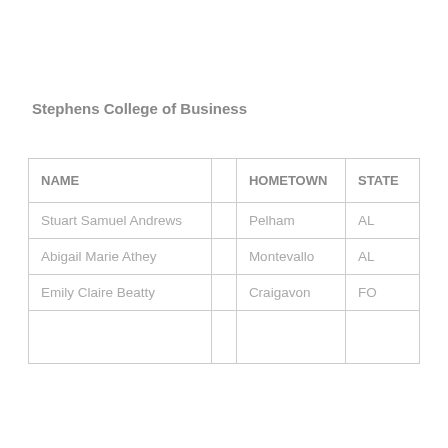Stephens College of Business
| NAME |  | HOMETOWN | STATE |
| --- | --- | --- | --- |
| Stuart Samuel Andrews |  | Pelham | AL |
| Abigail Marie Athey |  | Montevallo | AL |
| Emily Claire Beatty |  | Craigavon | FO |